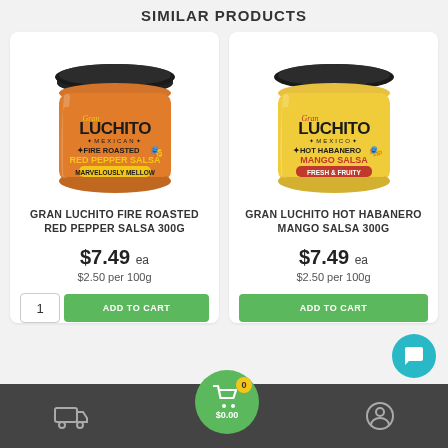SIMILAR PRODUCTS
[Figure (photo): Gran Luchito Fire Roasted Red Pepper Salsa 300g jar with orange label]
GRAN LUCHITO FIRE ROASTED RED PEPPER SALSA 300G
$7.49 ea
$2.50 per 100g
[Figure (photo): Gran Luchito Hot Habanero Mango Salsa 300g jar with yellow label]
GRAN LUCHITO HOT HABANERO MANGO SALSA 300G
$7.49 ea
$2.50 per 100g
$0.00  0